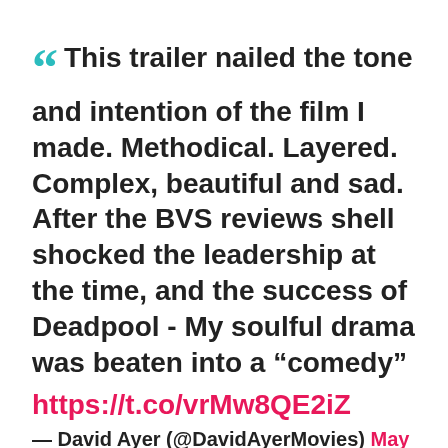“ This trailer nailed the tone and intention of the film I made. Methodical. Layered. Complex, beautiful and sad. After the BVS reviews shell shocked the leadership at the time, and the success of Deadpool - My soulful drama was beaten into a “comedy” https://t.co/vrMw8QE2iZ — David Ayer (@DavidAyerMovies) May 30, 2020